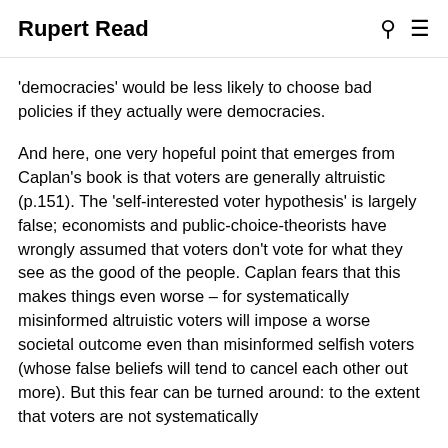Rupert Read
'democracies' would be less likely to choose bad policies if they actually were democracies.
And here, one very hopeful point that emerges from Caplan's book is that voters are generally altruistic (p.151). The 'self-interested voter hypothesis' is largely false; economists and public-choice-theorists have wrongly assumed that voters don't vote for what they see as the good of the people. Caplan fears that this makes things even worse – for systematically misinformed altruistic voters will impose a worse societal outcome even than misinformed selfish voters (whose false beliefs will tend to cancel each other out more). But this fear can be turned around: to the extent that voters are not systematically